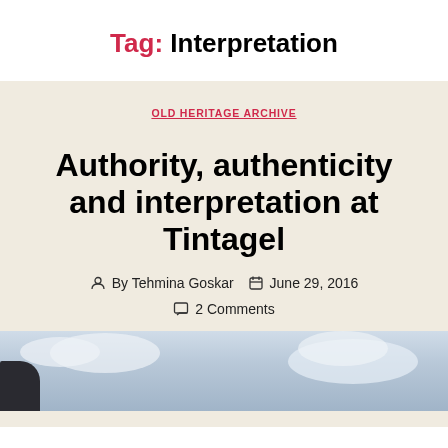Tag: Interpretation
OLD HERITAGE ARCHIVE
Authority, authenticity and interpretation at Tintagel
By Tehmina Goskar   June 29, 2016
2 Comments
[Figure (photo): Partial view of a sky with clouds, with a dark rocky or architectural element visible at bottom left — the beginning of a photo associated with the post about Tintagel]